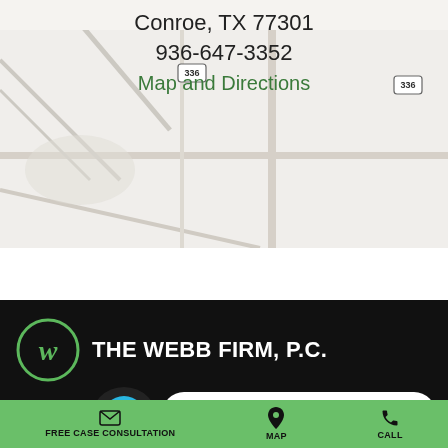[Figure (map): Google Maps partial screenshot showing road map near Conroe, TX with route 336 markers visible]
Conroe, TX 77301
936-647-3352
Map and Directions
[Figure (logo): The Webb Firm, P.C. logo: green circle with stylized W, white text 'THE WEBB FIRM, P.C.']
LIVE CHAT  START NOW
FREE CASE CONSULTATION   MAP   CALL